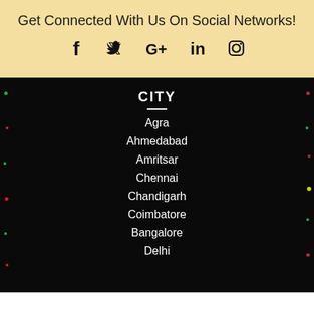Get Connected With Us On Social Networks!
[Figure (infographic): Social media icons: Facebook, Twitter, Google+, LinkedIn, Instagram]
CITY
Agra
Ahmedabad
Amritsar
Chennai
Chandigarh
Coimbatore
Bangalore
Delhi